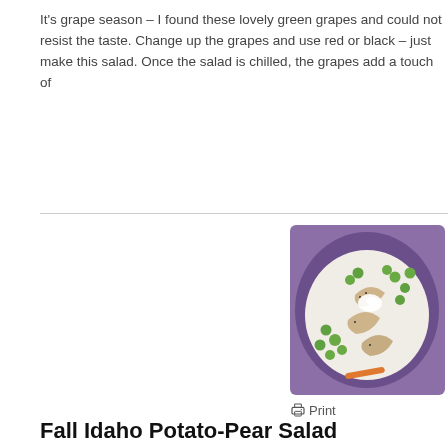It's grape season – I found these lovely green grapes and could not resist the taste. Change up the grapes and use red or black – just make this salad. Once the salad is chilled, the grapes add a touch of
[Figure (photo): A plate of potato salad with green grapes, pear slices, and white dressing on a decorative purple plate]
Print
Fall Idaho Potato-Pear Salad
Potato salad is my one of my favorite sides for many of the main dis